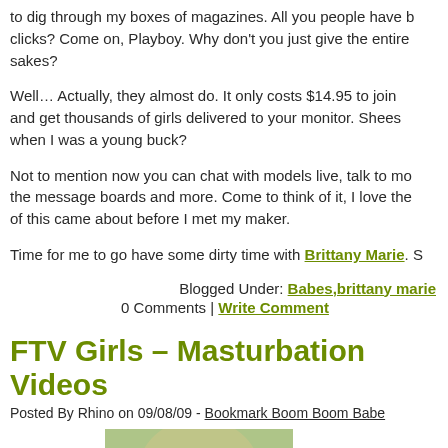to dig through my boxes of magazines. All you people have to do is a few clicks? Come on, Playboy. Why don't you just give the entire archive away for sakes?
Well… Actually, they almost do. It only costs $14.95 to join and get thousands of girls delivered to your monitor. Shees... where was this when I was a young buck?
Not to mention now you can chat with models live, talk to mo... the message boards and more. Come to think of it, I love the... of this came about before I met my maker.
Time for me to go have some dirty time with Brittany Marie. S...
Blogged Under: Babes,brittany marie
0 Comments | Write Comment
FTV Girls – Masturbation Videos
Posted By Rhino on 09/08/09 - Bookmark Boom Boom Babe
[Figure (photo): Partial photo of a woman with blonde hair, outdoor/blurred green background]